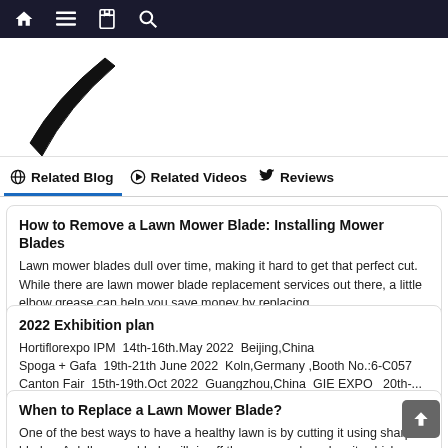Navigation bar with home, menu, bookmark, and search icons
[Figure (photo): Partial view of a curved lawn mower blade on white background]
Related Blog  Related Videos  Reviews
How to Remove a Lawn Mower Blade: Installing Mower Blades
Lawn mower blades dull over time, making it hard to get that perfect cut. While there are lawn mower blade replacement services out there, a little elbow grease can help you save money by replacing...
2022 Exhibition plan
Hortiflorexpo IPM  14th-16th.May 2022  Beijing,China
Spoga + Gafa  19th-21th June 2022  Koln,Germany ,Booth No.:6-C057
Canton Fair  15th-19th.Oct 2022  Guangzhou,China  GIE EXPO   20th-...
When to Replace a Lawn Mower Blade?
One of the best ways to have a healthy lawn is by cutting it using sharp blades. A dull mower blade will rip off the grass and weaken it, which leads to diseases. Therefore, sharpening the blades i...